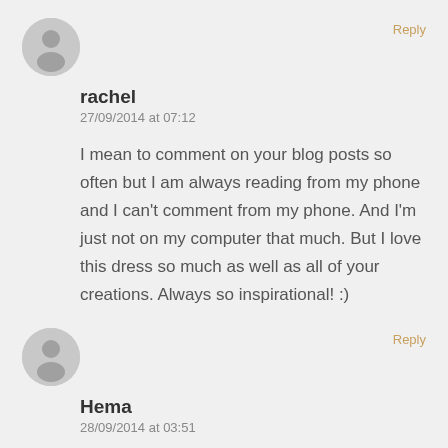[Figure (illustration): Round grey avatar icon with silhouette of a person, for user rachel]
Reply
rachel
27/09/2014 at 07:12
I mean to comment on your blog posts so often but I am always reading from my phone and I can't comment from my phone. And I'm just not on my computer that much. But I love this dress so much as well as all of your creations. Always so inspirational! :)
[Figure (illustration): Round grey avatar icon with silhouette of a person, for user Hema]
Reply
Hema
28/09/2014 at 03:51